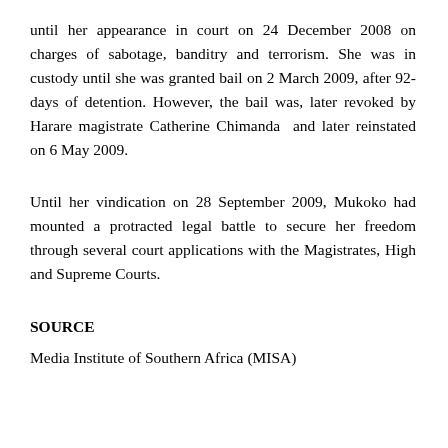until her appearance in court on 24 December 2008 on charges of sabotage, banditry and terrorism. She was in custody until she was granted bail on 2 March 2009, after 92-days of detention. However, the bail was, later revoked by Harare magistrate Catherine Chimanda  and later reinstated on 6 May 2009.
Until her vindication on 28 September 2009, Mukoko had mounted a protracted legal battle to secure her freedom through several court applications with the Magistrates, High and Supreme Courts.
SOURCE
Media Institute of Southern Africa (MISA)